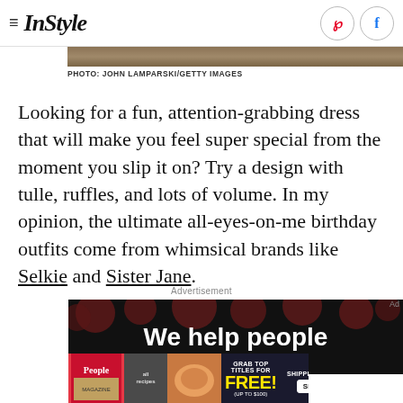≡ InStyle
[Figure (photo): Partial photo strip at top of page, landscape/nature tones]
PHOTO: JOHN LAMPARSKI/GETTY IMAGES
Looking for a fun, attention-grabbing dress that will make you feel super special from the moment you slip it on? Try a design with tulle, ruffles, and lots of volume. In my opinion, the ultimate all-eyes-on-me birthday outfits come from whimsical brands like Selkie and Sister Jane.
Advertisement
[Figure (screenshot): Dark advertisement banner with red bokeh circles and text 'We help people']
[Figure (screenshot): Colorful bottom ad banner: People magazine, allrecipes, grab top titles for FREE, just pay shipping and handling, Shop Now arrow button]